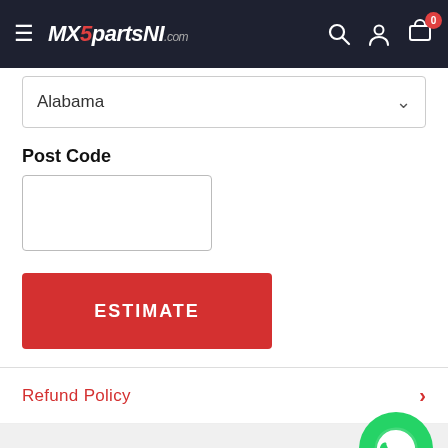MX5 parts NI .com
Alabama
Post Code
ESTIMATE
Refund Policy
YOU MAY ALSO LIKE